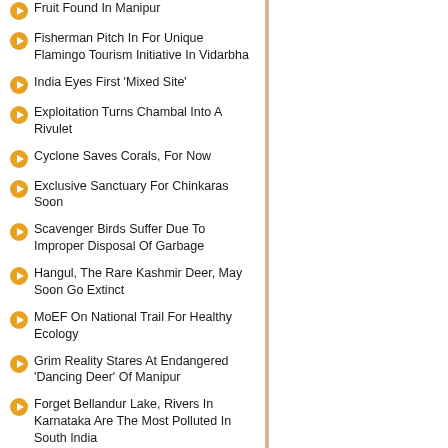Fruit Found In Manipur
Fisherman Pitch In For Unique Flamingo Tourism Initiative In Vidarbha
India Eyes First 'Mixed Site'
Exploitation Turns Chambal Into A Rivulet
Cyclone Saves Corals, For Now
Exclusive Sanctuary For Chinkaras Soon
Scavenger Birds Suffer Due To Improper Disposal Of Garbage
Hangul, The Rare Kashmir Deer, May Soon Go Extinct
MoEF On National Trail For Healthy Ecology
Grim Reality Stares At Endangered 'Dancing Deer' Of Manipur
Forget Bellandur Lake, Rivers In Karnataka Are The Most Polluted In South India